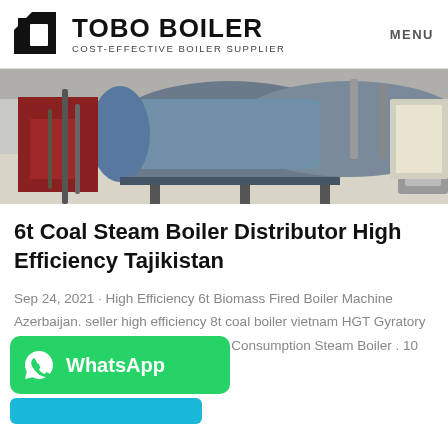TOBO BOILER — COST-EFFECTIVE BOILER SUPPLIER — MENU
[Figure (photo): Industrial boiler equipment inside a warehouse/factory setting, showing a large cylindrical boiler tank with blue casing and various pipes and support structures.]
6t Coal Steam Boiler Distributor High Efficiency Tajikistan
Sep 24, 2021 · High Efficiency 6t Biomass Fired Boiler Machine Azerbaijan. seller high efficiency 8t coal boiler vietnam HGT Gyratory Crusher. 6T 1 Ton Boiler Agent Fuel Consumption Steam Boiler . 10 Ton Oil Steam Boiler -…
[Figure (logo): WhatsApp button — green rounded rectangle with WhatsApp icon and 'WhatsApp' text in white, with a blue button below it.]